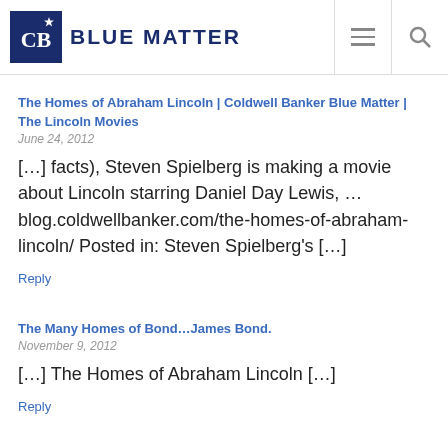BLUE MATTER
The Homes of Abraham Lincoln | Coldwell Banker Blue Matter | The Lincoln Movies
June 24, 2012
[…] facts), Steven Spielberg is making a movie about Lincoln starring Daniel Day Lewis, …blog.coldwellbanker.com/the-homes-of-abraham-lincoln/ Posted in: Steven Spielberg's […]
Reply
The Many Homes of Bond…James Bond.
November 9, 2012
[…] The Homes of Abraham Lincoln […]
Reply